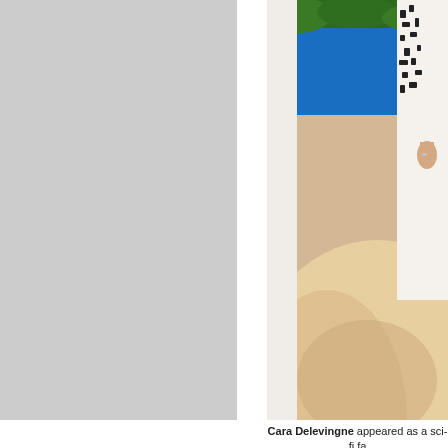[Figure (photo): Partial photo showing a person in a black and white patterned outfit standing on a sandy surface with a bright blue background (likely an event backdrop with greenery at top). Only the lower body and one hand are visible. The left portion of the page shows a gray placeholder block.]
Cara Delevingne appeared as a sci-fi fa... 2017 Couture